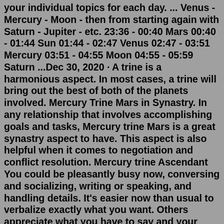your individual topics for each day. ... Venus - Mercury - Moon - then from starting again with Saturn - Jupiter - etc. 23:36 - 00:40 Mars 00:40 - 01:44 Sun 01:44 - 02:47 Venus 02:47 - 03:51 Mercury 03:51 - 04:55 Moon 04:55 - 05:59 Saturn ...Dec 30, 2020 · A trine is a harmonious aspect. In most cases, a trine will bring out the best of both of the planets involved. Mercury Trine Mars in Synastry. In any relationship that involves accomplishing goals and tasks, Mercury trine Mars is a great synastry aspect to have. This aspect is also helpful when it comes to negotiation and conflict resolution. Mercury trine Ascendant You could be pleasantly busy now, conversing and socializing, writing or speaking, and handling details. It's easier now than usual to verbalize exactly what you want. Others appreciate what you have to say and your ideas and opinions are received exactly as you intended them. Mercury opposition Ascendant Mercury also serves to guide people to the Underworld. Mercury is usually depicted with a winged hat and winged shoes carrying